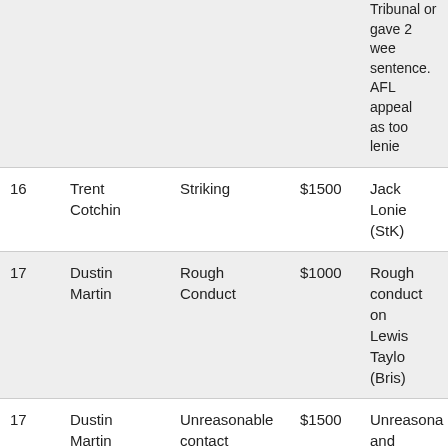| # | Player | Offence | Fine | Details |
| --- | --- | --- | --- | --- |
|  |  |  |  | Tribunal or gave 2 wee sentence. AFL appeal as too lenie |
| 16 | Trent Cotchin | Striking | $1500 | Jack Lonie (StK) |
| 17 | Dustin Martin | Rough Conduct | $1000 | Rough conduct on Lewis Taylo (Bris) |
| 17 | Dustin Martin | Unreasonable contact | $1500 | Unreasona and unnecessa contact wi an open ha on Nick |